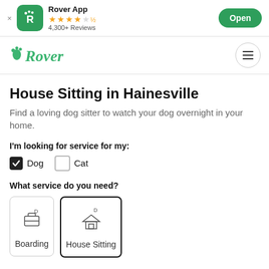[Figure (screenshot): Rover app banner with app icon, star rating, review count, and Open button]
[Figure (logo): Rover website navigation bar with Rover logo and hamburger menu]
House Sitting in Hainesville
Find a loving dog sitter to watch your dog overnight in your home.
I'm looking for service for my:
Dog  Cat
What service do you need?
Boarding
House Sitting